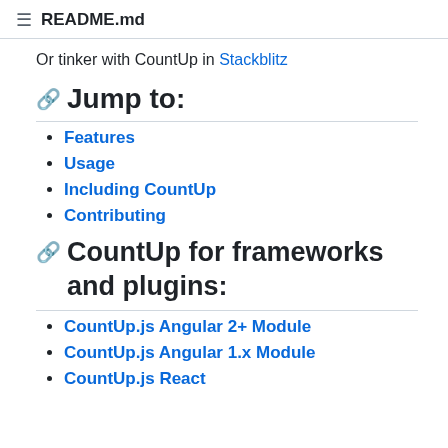☰  README.md
Or tinker with CountUp in Stackblitz
🔗 Jump to:
Features
Usage
Including CountUp
Contributing
🔗 CountUp for frameworks and plugins:
CountUp.js Angular 2+ Module
CountUp.js Angular 1.x Module
CountUp.js React